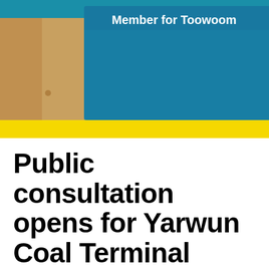[Figure (photo): Photo of a person in a tan/beige jacket standing in front of a teal/blue background with a yellow stripe at the bottom. Partial text visible at top right reading 'Member for Toowoom...' in white on teal background.]
Public consultation opens for Yarwun Coal Terminal